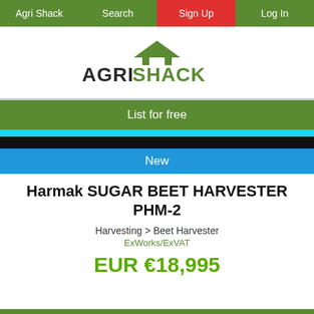Agri Shack  Search  Sign Up  Log In
[Figure (logo): AgriShack logo with green roof/chevron graphic above bold text AGRI in dark gray and SHACK in green]
List for free
New
Harmak SUGAR BEET HARVESTER PHM-2
Harvesting > Beet Harvester
ExWorks/ExVAT
EUR €18,995